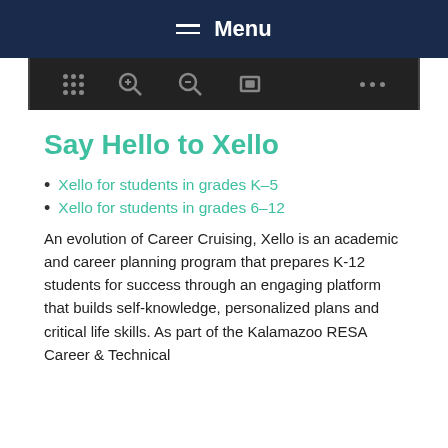Menu
[Figure (screenshot): Dark toolbar with grid/dots icon, zoom-in, zoom-out, fullscreen, and ellipsis icons on a black background]
Say Hello to Xello
Xello for students in grades K–5
Xello for students in grades 6–12
An evolution of Career Cruising, Xello is an academic and career planning program that prepares K-12 students for success through an engaging platform that builds self-knowledge, personalized plans and critical life skills. As part of the Kalamazoo RESA Career & Technical